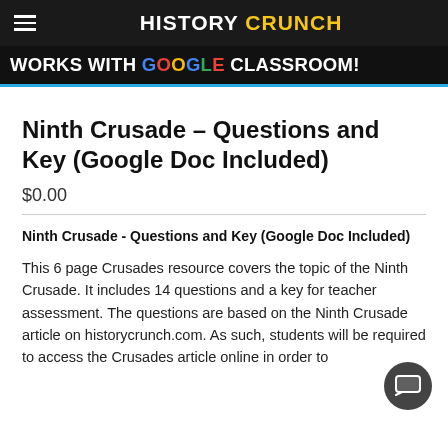HISTORY CRUNCH
[Figure (infographic): Works with Google Classroom banner on dark background with blue underline]
Ninth Crusade – Questions and Key (Google Doc Included)
$0.00
Ninth Crusade - Questions and Key (Google Doc Included)
This 6 page Crusades resource covers the topic of the Ninth Crusade. It includes 14 questions and a key for teacher assessment. The questions are based on the Ninth Crusade article on historycrunch.com. As such, students will be required to access the Crusades article online in order to